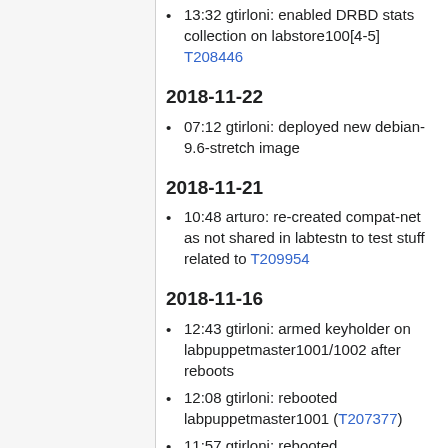13:32 gtirloni: enabled DRBD stats collection on labstore100[4-5] T208446
2018-11-22
07:12 gtirloni: deployed new debian-9.6-stretch image
2018-11-21
10:48 arturo: re-created compat-net as not shared in labtestn to test stuff related to T209954
2018-11-16
12:43 gtirloni: armed keyholder on labpuppetmaster1001/1002 after reboots
12:08 gtirloni: rebooted labpuppetmaster1001 (T207377)
11:57 gtirloni: rebooted